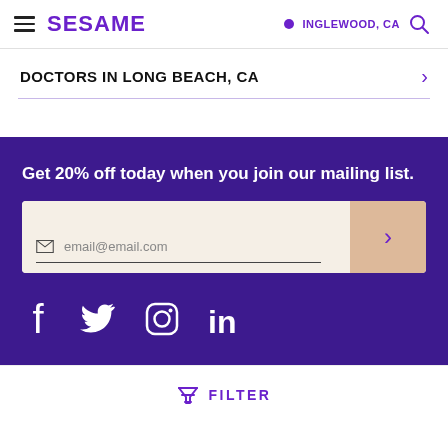SESAME | INGLEWOOD, CA
DOCTORS IN LONG BEACH, CA
Get 20% off today when you join our mailing list.
email@email.com
[Figure (infographic): Social media icons: Facebook, Twitter, Instagram, LinkedIn]
FILTER